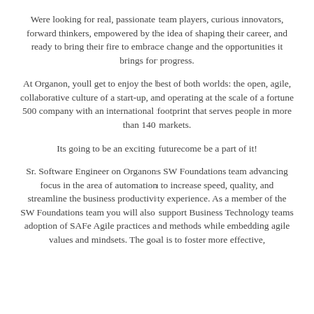Were looking for real, passionate team players, curious innovators, forward thinkers, empowered by the idea of shaping their career, and ready to bring their fire to embrace change and the opportunities it brings for progress.
At Organon, youll get to enjoy the best of both worlds: the open, agile, collaborative culture of a start-up, and operating at the scale of a fortune 500 company with an international footprint that serves people in more than 140 markets.
Its going to be an exciting futurecome be a part of it!
Sr. Software Engineer on Organons SW Foundations team advancing focus in the area of automation to increase speed, quality, and streamline the business productivity experience. As a member of the SW Foundations team you will also support Business Technology teams adoption of SAFe Agile practices and methods while embedding agile values and mindsets. The goal is to foster more effective,